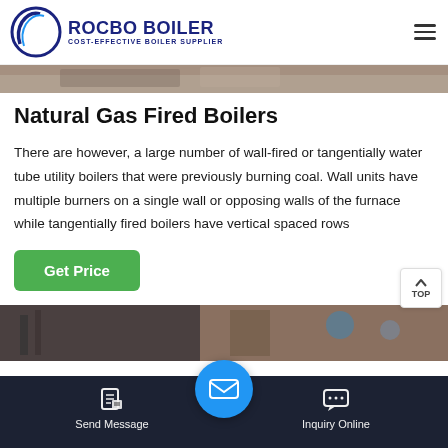ROCBO BOILER — COST-EFFECTIVE BOILER SUPPLIER
[Figure (photo): Partial view of industrial boiler machinery, grey/brown tones, top strip]
Natural Gas Fired Boilers
There are however, a large number of wall-fired or tangentially water tube utility boilers that were previously burning coal. Wall units have multiple burners on a single wall or opposing walls of the furnace while tangentially fired boilers have vertical spaced rows
[Figure (photo): Industrial boiler equipment photo, lower section of page]
Send Message | Inquiry Online